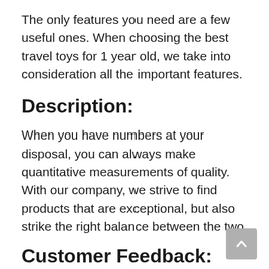The only features you need are a few useful ones. When choosing the best travel toys for 1 year old, we take into consideration all the important features.
Description:
When you have numbers at your disposal, you can always make quantitative measurements of quality. With our company, we strive to find products that are exceptional, but also strike the right balance between the two.
Customer Feedback: